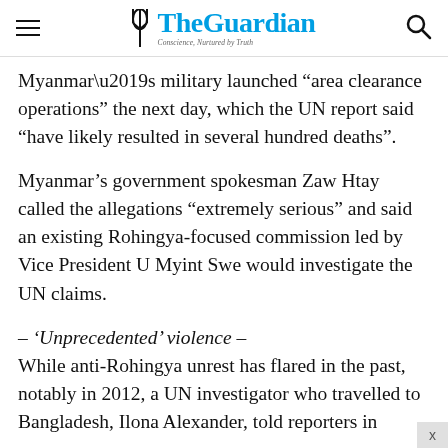The Guardian
Myanmar’s military launched “area clearance operations” the next day, which the UN report said “have likely resulted in several hundred deaths”.
Myanmar’s government spokesman Zaw Htay called the allegations “extremely serious” and said an existing Rohingya-focused commission led by Vice President U Myint Swe would investigate the UN claims.
– ‘Unprecedented’ violence –
While anti-Rohingya unrest has flared in the past, notably in 2012, a UN investigator who travelled to Bangladesh, Ilona Alexander, told reporters in